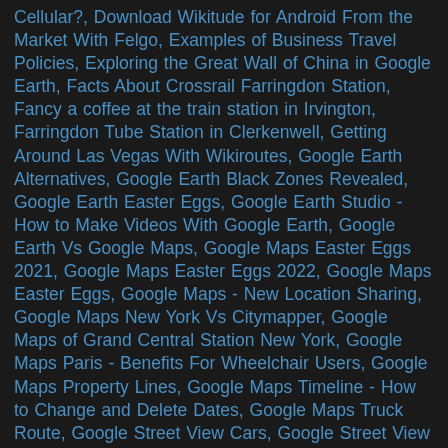Cellular?, Download Wikitude for Android From the Market With Felgo, Examples of Business Travel Policies, Exploring the Great Wall of China in Google Earth, Facts About Crossrail Farringdon Station, Fancy a coffee at the train station in Irvington, Farringdon Tube Station in Clerkenwell, Getting Around Las Vegas With Wikiroutes, Google Earth Alternatives, Google Earth Black Zones Revealed, Google Earth Easter Eggs, Google Earth Studio - How to Make Videos With Google Earth, Google Earth Vs Google Maps, Google Maps Easter Eggs 2021, Google Maps Easter Eggs 2022, Google Maps Easter Eggs, Google Maps - New Location Sharing, Google Maps New York Vs Citymapper, Google Maps of Grand Central Station New York, Google Maps Paris - Benefits For Wheelchair Users, Google Maps Property Lines, Google Maps Timeline - How to Change and Delete Dates, Google Maps Truck Route, Google Street View Cars, Google Street View in Germany, Hadrian's Wall Walk Route Planner, HGV Route Planner Webfleet Solutions, Hidden on Google Earth - Secrets Revealed!, Hotels For Business Travellers, How Accurate is Citymapper?, How Accurate is Google Maps in Measuring Distance?, How Do I Connect Google Maps to My Toyota Navigation System?, How Do I Get Compass Bearings on Google Maps?, How Do They Get Street View on Google Maps?, How Does Apple Maps Know Where My Car Is Parked?, How Last Mile Delivery Tracking Can Benefit Your Business, How Long Can a Ship...